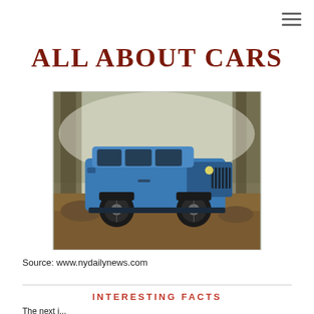ALL ABOUT CARS
[Figure (photo): Blue Jeep Wrangler SUV parked on forest trail with misty trees in background]
Source: www.nydailynews.com
INTERESTING FACTS
The next line is cut off at the bottom of the page